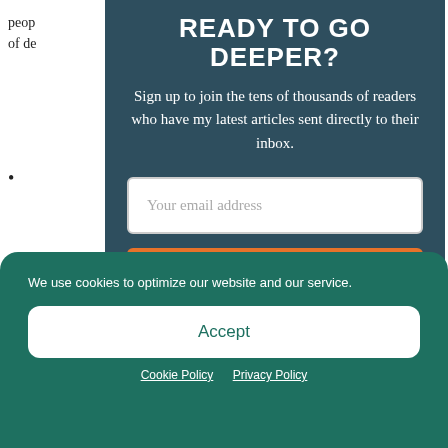peop... use of de...
•
READY TO GO DEEPER?
Sign up to join the tens of thousands of readers who have my latest articles sent directly to their inbox.
Your email address
Subscribe
We use cookies to optimize our website and our service.
Accept
Cookie Policy   Privacy Policy